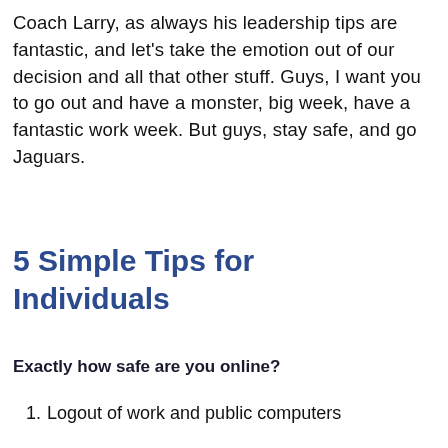Coach Larry, as always his leadership tips are fantastic, and let’s take the emotion out of our decision and all that other stuff. Guys, I want you to go out and have a monster, big week, have a fantastic work week. But guys, stay safe, and go Jaguars.
5 Simple Tips for Individuals
Exactly how safe are you online?
Logout of work and public computers